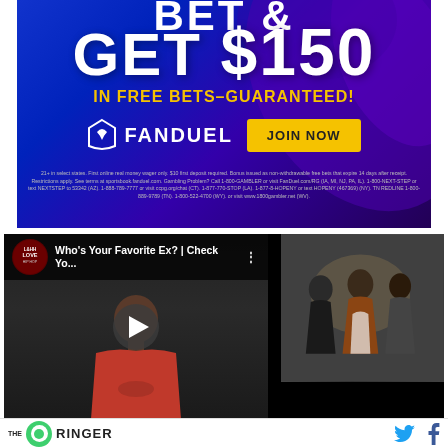[Figure (photo): FanDuel advertisement banner: blue/purple gradient background. Text reads 'GET $150 IN FREE BETS - GUARANTEED!' with FanDuel logo and a yellow 'JOIN NOW' button. Disclaimer text at the bottom.]
[Figure (screenshot): YouTube video embed showing 'Who's Your Favorite Ex? | Check Yo...' from Love & Hip Hop channel. Shows a man in a red hoodie with a play button overlay, and a thumbnail of people dancing on the right side.]
[Figure (logo): The Ringer logo - green circle with white ring and green center dot, followed by 'THE RINGER' text in black. Social media icons (Twitter bird in blue, Facebook f in dark blue) on the right.]